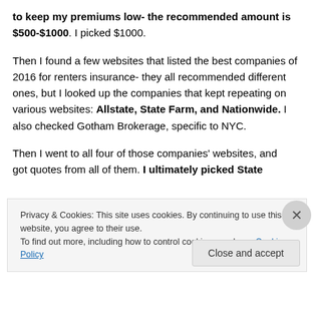to keep my premiums low- the recommended amount is $500-$1000. I picked $1000.
Then I found a few websites that listed the best companies of 2016 for renters insurance- they all recommended different ones, but I looked up the companies that kept repeating on various websites: Allstate, State Farm, and Nationwide. I also checked Gotham Brokerage, specific to NYC.
Then I went to all four of those companies' websites, and got quotes from all of them. I ultimately picked State
Privacy & Cookies: This site uses cookies. By continuing to use this website, you agree to their use.
To find out more, including how to control cookies, see here: Cookie Policy
Close and accept